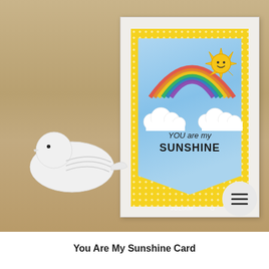[Figure (photo): A handmade greeting card featuring a rainbow, smiling sun, white clouds, and 'YOU are my SUNSHINE' text on a blue banner with yellow polka-dot border, displayed next to a white ceramic bird figurine on a wooden surface.]
You Are My Sunshine Card